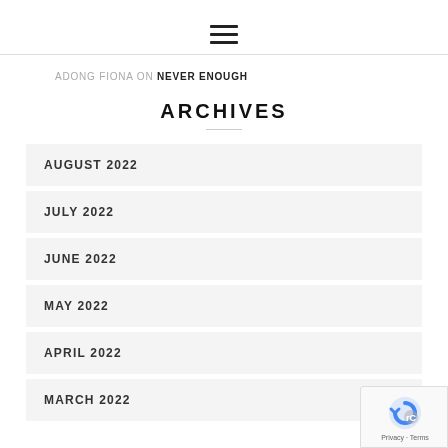hamburger menu icon
ADONG FIONA ON NEVER ENOUGH
ARCHIVES
AUGUST 2022
JULY 2022
JUNE 2022
MAY 2022
APRIL 2022
MARCH 2022
[Figure (logo): reCAPTCHA badge with rotating arrow icon and Privacy - Terms text]